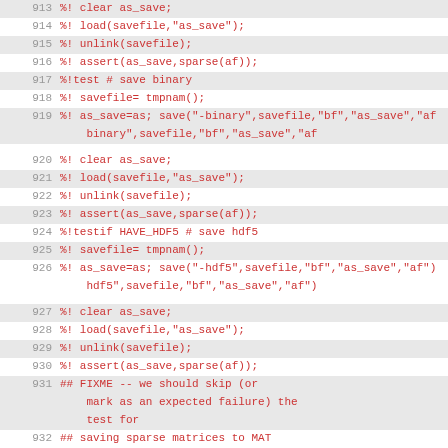913  %! clear as_save;
914  %! load(savefile,"as_save");
915  %! unlink(savefile);
916  %! assert(as_save,sparse(af));
917  %!test # save binary
918  %! savefile= tmpnam();
919  %! as_save=as; save("-binary",savefile,"bf","as_save","af
920  %! clear as_save;
921  %! load(savefile,"as_save");
922  %! unlink(savefile);
923  %! assert(as_save,sparse(af));
924  %!testif HAVE_HDF5 # save hdf5
925  %! savefile= tmpnam();
926  %! as_save=as; save("-hdf5",savefile,"bf","as_save","af")
927  %! clear as_save;
928  %! load(savefile,"as_save");
929  %! unlink(savefile);
930  %! assert(as_save,sparse(af));
931  ## FIXME -- we should skip (or mark as an expected failure) the test for
932  ## saving sparse matrices to MAT files when using 64-bit indexing since
933  ## that is not implemented yet.